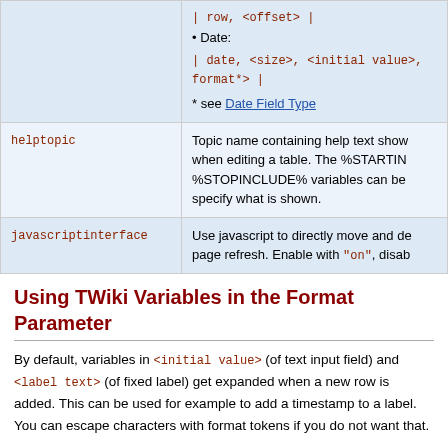| Parameter | Description |
| --- | --- |
|  | | row, <offset> |
• Date:
| date, <size>, <initial value>, format*> |
* see Date Field Type |
| helptopic | Topic name containing help text shown when editing a table. The %STARTINCLUDE% %STOPINCLUDE% variables can be used to specify what is shown. |
| javascriptinterface | Use javascript to directly move and delete rows without a page refresh. Enable with "on", disable with... |
Using TWiki Variables in the Format Parameter
By default, variables in <initial value> (of text input field) and <label text> (of fixed label) get expanded when a new row is added. This can be used for example to add a timestamp to a label. You can escape characters with format tokens if you do not want that.